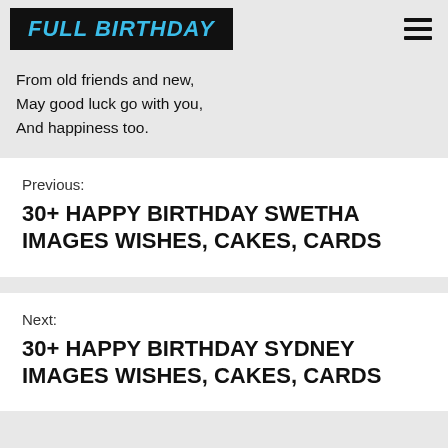FULL BIRTHDAY
From old friends and new,
May good luck go with you,
And happiness too.
Previous:
30+ HAPPY BIRTHDAY SWETHA IMAGES WISHES, CAKES, CARDS
Next:
30+ HAPPY BIRTHDAY SYDNEY IMAGES WISHES, CAKES, CARDS